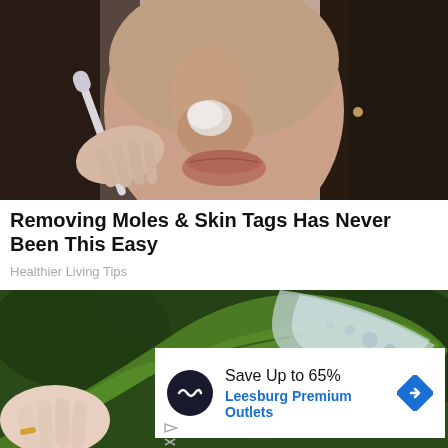[Figure (photo): Close-up photo of a woman's face with dark hair applying something white to her nose with a cotton swab]
Removing Moles & Skin Tags Has Never Been This Easy
Healthier Living Tips
[Figure (photo): Hand holding a large green aloe vera leaf with gel/moisture visible on its surface, green garden background]
Save Up to 65%
Leesburg Premium Outlets